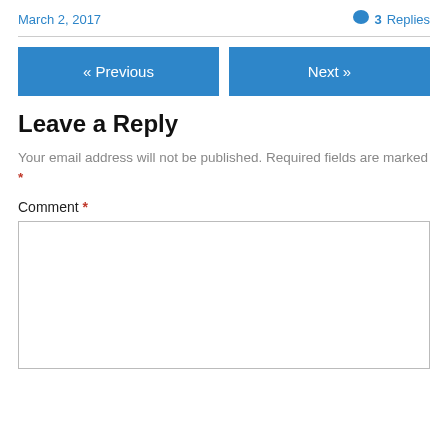March 2, 2017
3 Replies
« Previous
Next »
Leave a Reply
Your email address will not be published. Required fields are marked *
Comment *